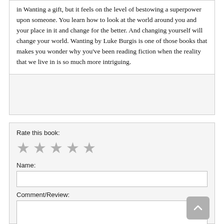in Wanting a gift, but it feels on the level of bestowing a superpower upon someone. You learn how to look at the world around you and your place in it and change for the better. And changing yourself will change your world. Wanting by Luke Burgis is one of those books that makes you wonder why you've been reading fiction when the reality that we live in is so much more intriguing.
Rate this book:
Name:
Comment/Review: